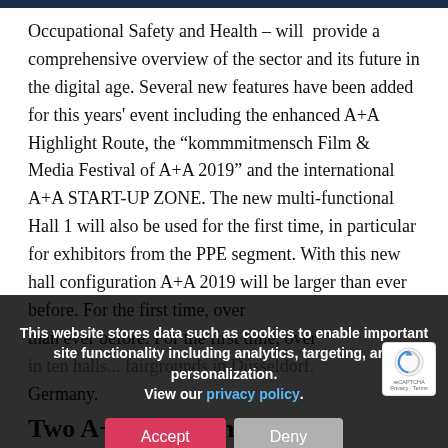Occupational Safety and Health – will provide a comprehensive overview of the sector and its future in the digital age. Several new features have been added for this years' event including the enhanced A+A Highlight Route, the "kommmitmensch Film & Media Festival of A+A 2019" and the international A+A START-UP ZONE. The new multi-functional Hall 1 will also be used for the first time, in particular for exhibitors from the PPE segment. With this new hall configuration A+A 2019 will be larger than ever before. For the first time, over ... in ten halls ... fairgrounds in Düsseldorf. Germany.
This website stores data such as cookies to enable important site functionality including analytics, targeting, and personalization. View our privacy policy.
Two A+A Highlight Routes